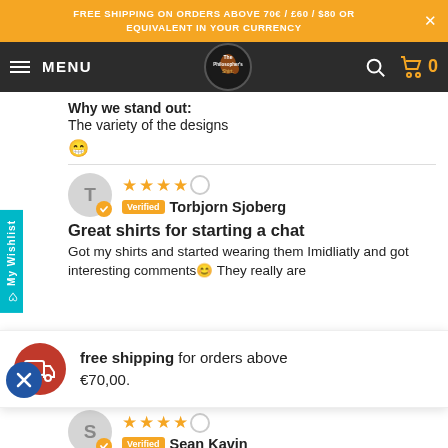FREE SHIPPING ON ORDERS ABOVE 70€ / £60 / $80 OR EQUIVALENT IN YOUR CURRENCY
MENU — The Philosopher's Shirt — 0
Why we stand out:
The variety of the designs
😁
★★★★☆  Verified  Torbjorn Sjoberg
Great shirts for starting a chat
Got my shirts and started wearing them Imidliatly and got interesting comments😊 They really are
free shipping for orders above €70,00.
★★★★☆  Verified  Sean Kavin